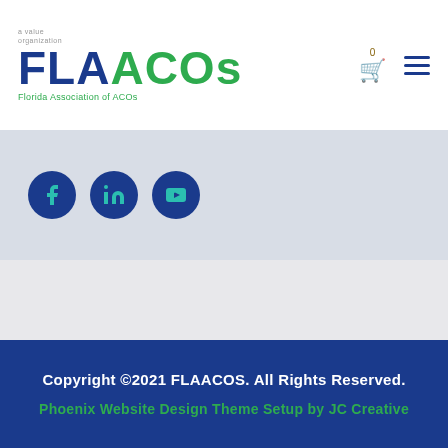[Figure (logo): FLAACOs - Florida Association of ACOs logo with green and blue text]
[Figure (illustration): Social media icons: Facebook, LinkedIn, YouTube in dark blue circles on a gray background]
Copyright ©2021 FLAACOS. All Rights Reserved.
Phoenix Website Design Theme Setup by JC Creative